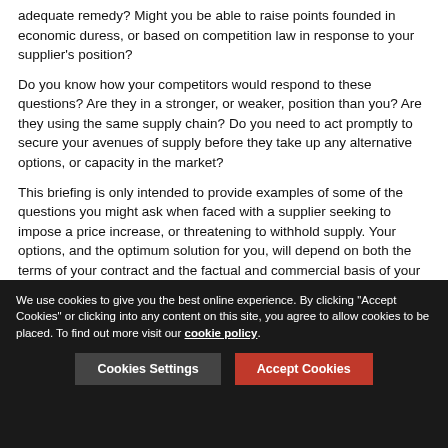adequate remedy? Might you be able to raise points founded in economic duress, or based on competition law in response to your supplier's position?
Do you know how your competitors would respond to these questions? Are they in a stronger, or weaker, position than you? Are they using the same supply chain? Do you need to act promptly to secure your avenues of supply before they take up any alternative options, or capacity in the market?
This briefing is only intended to provide examples of some of the questions you might ask when faced with a supplier seeking to impose a price increase, or threatening to withhold supply. Your options, and the optimum solution for you, will depend on both the terms of your contract and the factual and commercial basis of your relationship with your supplier and your wider business.
We use cookies to give you the best online experience. By clicking "Accept Cookies" or clicking into any content on this site, you agree to allow cookies to be placed. To find out more visit our cookie policy.